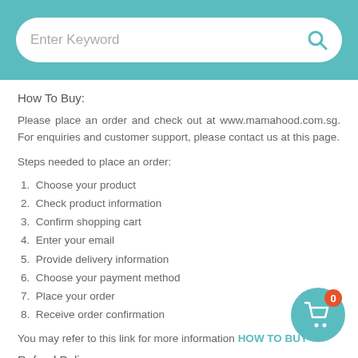Enter Keyword [search bar]
How To Buy:
Please place an order and check out at www.mamahood.com.sg. For enquiries and customer support, please contact us at this page.
Steps needed to place an order:
1. Choose your product
2. Check product information
3. Confirm shopping cart
4. Enter your email
5. Provide delivery information
6. Choose your payment method
7. Place your order
8. Receive order confirmation
You may refer to this link for more information HOW TO BUY
Refund Policy:
All items sold on Motherhood.com.my are covered under the Motherhood.com.my Buyer Protection Guarantee and/or 100%